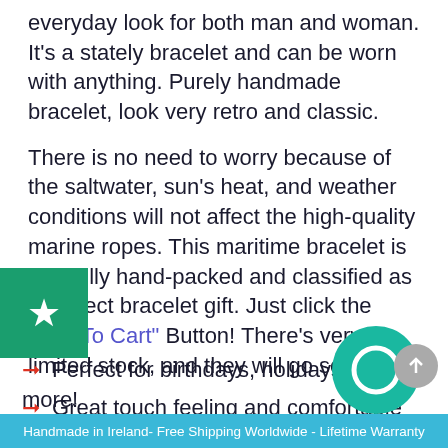everyday look for both man and woman. It's a stately bracelet and can be worn with anything. Purely handmade bracelet, look very retro and classic.
There is no need to worry because of the saltwater, sun's heat, and weather conditions will not affect the high-quality marine ropes. This maritime bracelet is carefully hand-packed and classified as a perfect bracelet gift. Just click the "Add To Cart" Button! There's very limited stock, and they will go soon!
Perfect for birthdays, holidays, and more!
Great touch feeling and comfortable to wear.
Easy to put on or take off, bring you comfort
Handmade in Ireland- Free Shipping Worldwide - Lifetime Warranty